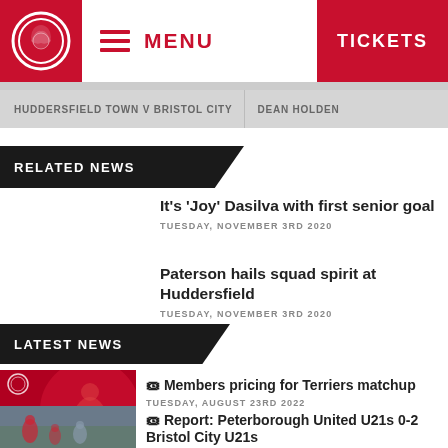MENU | TICKETS
HUDDERSFIELD TOWN V BRISTOL CITY | DEAN HOLDEN
RELATED NEWS
It's 'Joy' Dasilva with first senior goal
TUESDAY, NOVEMBER 3RD 2020
Paterson hails squad spirit at Huddersfield
TUESDAY, NOVEMBER 3RD 2020
LATEST NEWS
[Figure (photo): Bristol City vs Huddersfield matchup promotional image with City VS Huddersfield text and £15 pricing]
🎟 Members pricing for Terriers matchup
TUESDAY, AUGUST 23RD 2022
[Figure (photo): Football match action photo showing players in red and blue/white kits]
🎟 Report: Peterborough United U21s 0-2 Bristol City U21s